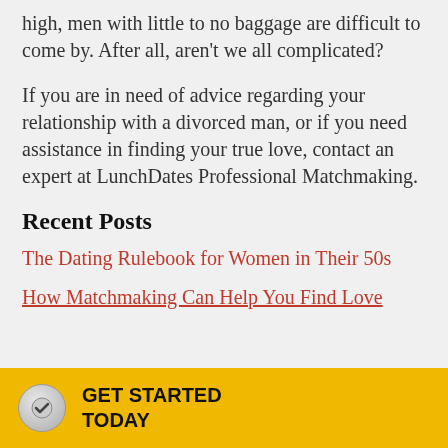high, men with little to no baggage are difficult to come by. After all, aren't we all complicated?
If you are in need of advice regarding your relationship with a divorced man, or if you need assistance in finding your true love, contact an expert at LunchDates Professional Matchmaking.
Recent Posts
The Dating Rulebook for Women in Their 50s
How Matchmaking Can Help You Find Love
GET STARTED TODAY